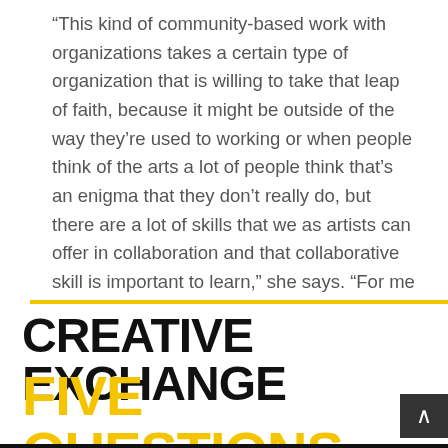“This kind of community-based work with organizations takes a certain type of organization that is willing to take that leap of faith, because it might be outside of the way they’re used to working or when people think of the arts a lot of people think that’s an enigma that they don’t really do, but there are a lot of skills that we as artists can offer in collaboration and that collaborative skill is important to learn,” she says. “For me as an artist, I’ve been learning really how to articulate what this work is in an accessible way, and that’s important.”
CREATIVE EXCHANGE FIVE QUESTIONS